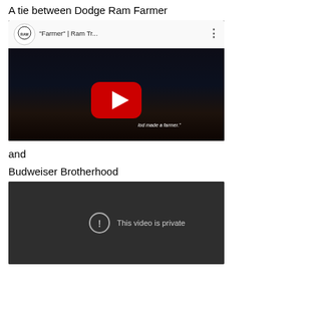A tie between Dodge Ram Farmer
[Figure (screenshot): YouTube video embed showing Ram Trucks 'Farmer' ad. Video title: "Farmer" | Ram Tr... with RAM logo. Dark farmhouse image with text 'God made a farmer.' and red YouTube play button.]
and
Budweiser Brotherhood
[Figure (screenshot): Embedded video player showing 'This video is private' with a circle exclamation icon on a dark background.]